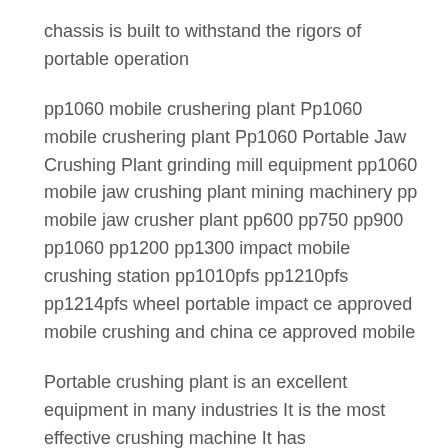chassis is built to withstand the rigors of portable operation
pp1060 mobile crushering plant Pp1060 mobile crushering plant Pp1060 Portable Jaw Crushing Plant grinding mill equipment pp1060 mobile jaw crushing plant mining machinery pp mobile jaw crusher plant pp600 pp750 pp900 pp1060 pp1200 pp1300 impact mobile crushing station pp1010pfs pp1210pfs pp1214pfs wheel portable impact ce approved mobile crushing and china ce approved mobile
Portable crushing plant is an excellent equipment in many industries It is the most effective crushing machine It has characteristics of free combination and move on roads Moreover it could meet customers different requirements to produce different sized final materials Introduction of